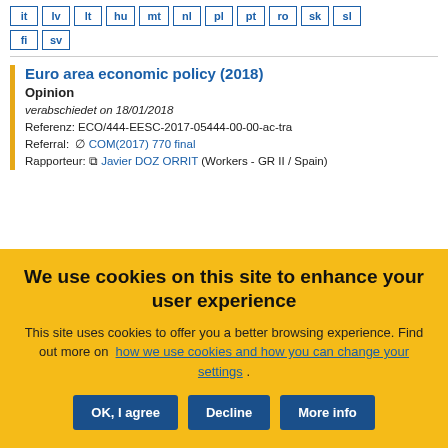it lv lt hu mt nl pl pt ro sk sl fi sv
Euro area economic policy (2018)
Opinion
verabschiedet on 18/01/2018
Referenz: ECO/444-EESC-2017-05444-00-00-ac-tra
Referral: COM(2017) 770 final
Rapporteur: Javier DOZ ORRIT (Workers - GR II / Spain)
We use cookies on this site to enhance your user experience
This site uses cookies to offer you a better browsing experience. Find out more on how we use cookies and how you can change your settings .
OK, I agree | Decline | More info